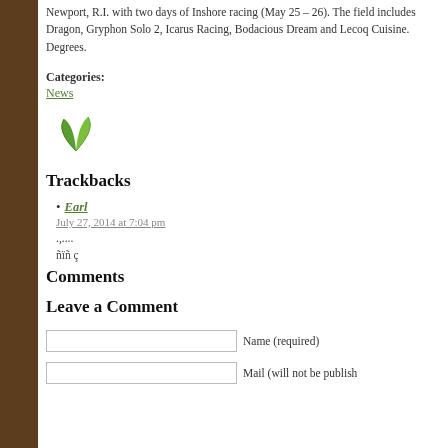Newport, R.I. with two days of Inshore racing (May 25 – 26). The field includes Dragon, Gryphon Solo 2, Icarus Racing, Bodacious Dream and Lecoq Cuisine. Degrees.
Categories:
News
[Figure (illustration): Two green leaves icon/logo]
Trackbacks
Earl — July 27, 2014 at 7:04 pm — .,... — ñïñ ç
Comments
Leave a Comment
Name (required)
Mail (will not be publish